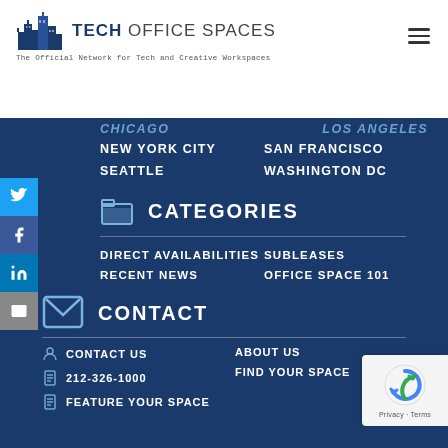[Figure (logo): Tech Office Spaces logo with city skyline icon]
The Official Network for Tech and Creative Workspaces
CHICAGO
LOS ANGELES
NEW YORK CITY
SAN FRANCISCO
SEATTLE
WASHINGTON DC
CATEGORIES
DIRECT AVAILABILITIES
SUBLEASES
RECENT NEWS
OFFICE SPACE 101
CONTACT
CONTACT US
ABOUT US
212-326-1000
FIND YOUR SPACE
FEATURE YOUR SPACE